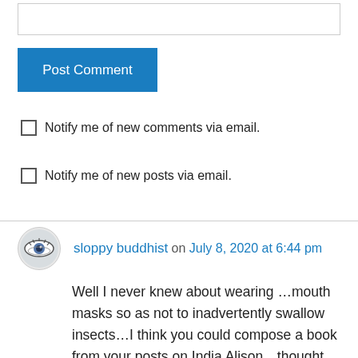[Figure (screenshot): Empty text input box for comment form]
Post Comment
Notify me of new comments via email.
Notify me of new posts via email.
sloppy buddhist on July 8, 2020 at 6:44 pm
Well I never knew about wearing …mouth masks so as not to inadvertently swallow insects…I think you could compose a book from your posts on India Alison…thought about the image of you having your hair cut…these narratives of the waters are beautiful and thanks for your teachings too… sending you joy + smiles Hedy